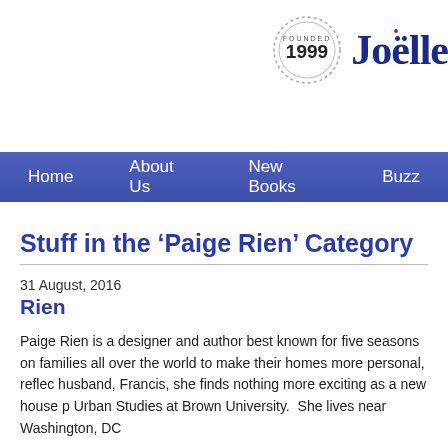[Figure (logo): Founded 1999 seal and Joëlle logo in top right header area]
Home   About Us   New Books   Buzz
Stuff in the 'Paige Rien' Category
31 August, 2016
Rien
Paige Rien is a designer and author best known for five seasons on families all over the world to make their homes more personal, reflec husband, Francis, she finds nothing more exciting as a new house p Urban Studies at Brown University.  She lives near Washington, DC
LOVE THE HOUSE YOU'RE IN:  40 Ways to Improve Your Home ar Publications, Distributed by Penguin Random House, March 2016).